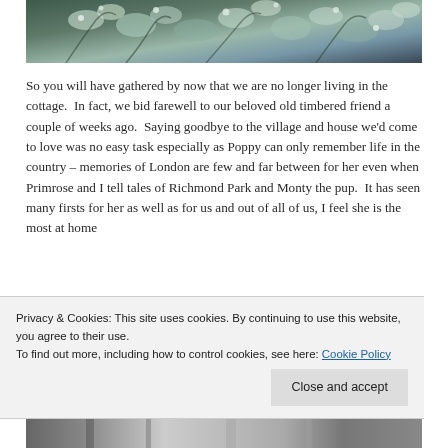[Figure (photo): Close-up photo of pale blue/silver flowers and foliage, partially cropped at top of page]
So you will have gathered by now that we are no longer living in the cottage.  In fact, we bid farewell to our beloved old timbered friend a couple of weeks ago.  Saying goodbye to the village and house we'd come to love was no easy task especially as Poppy can only remember life in the country – memories of London are few and far between for her even when Primrose and I tell tales of Richmond Park and Monty the pup.  It has seen many firsts for her as well as for us and out of all of us, I feel she is the most at home
Privacy & Cookies: This site uses cookies. By continuing to use this website, you agree to their use.
To find out more, including how to control cookies, see here: Cookie Policy
[Figure (photo): Black and white photo visible at bottom edge of page, appears to show a building or outdoor scene]